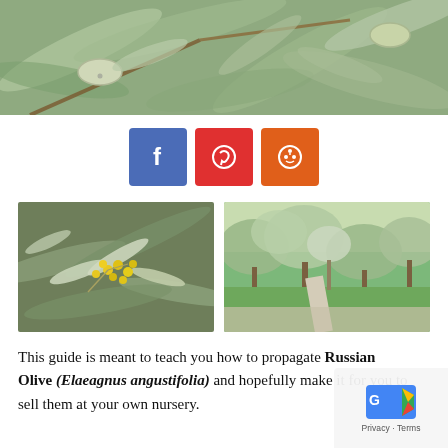[Figure (photo): Close-up photo of olive tree branches with green-gray leaves and light green olive fruits]
[Figure (infographic): Three social share buttons: Facebook (blue), Pinterest (red), Reddit (orange)]
[Figure (photo): Left: close-up of Elaeagnus angustifolia (Russian Olive) branches with small yellow flowers and silvery leaves. Right: street scene with large Russian Olive trees lining a sidewalk in a park.]
This guide is meant to teach you how to propagate Russian Olive (Elaeagnus angustifolia) and hopefully make it for you to sell them at your own nursery.